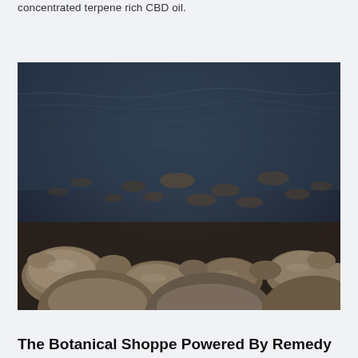concentrated terpene rich CBD oil.
[Figure (photo): Photograph of river rocks and stones submerged under clear, dark water viewed from above. Stones are visible through the water in the upper portion, and larger exposed rocks fill the lower foreground.]
The Botanical Shoppe Powered By Remedy